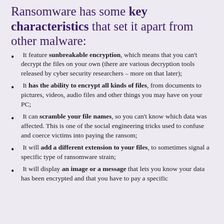Ransomware has some key characteristics that set it apart from other malware:
It feature sunbreakable encryption, which means that you can't decrypt the files on your own (there are various decryption tools released by cyber security researchers – more on that later);
It has the ability to encrypt all kinds of files, from documents to pictures, videos, audio files and other things you may have on your PC;
It can scramble your file names, so you can't know which data was affected. This is one of the social engineering tricks used to confuse and coerce victims into paying the ransom;
It will add a different extension to your files, to sometimes signal a specific type of ransomware strain;
It will display an image or a message that lets you know your data has been encrypted and that you have to pay a specific amount of money to get it back.